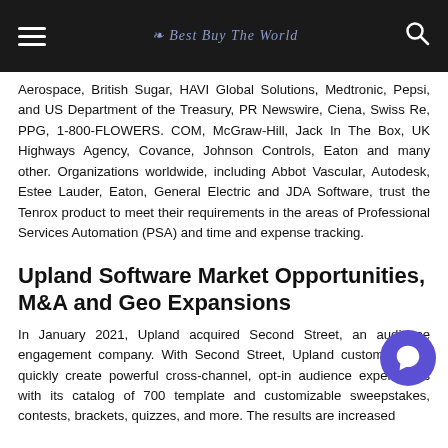Best Buy The World [logo/header bar]
Aerospace, British Sugar, HAVI Global Solutions, Medtronic, Pepsi, and US Department of the Treasury, PR Newswire, Ciena, Swiss Re, PPG, 1-800-FLOWERS. COM, McGraw-Hill, Jack In The Box, UK Highways Agency, Covance, Johnson Controls, Eaton and many other. Organizations worldwide, including Abbot Vascular, Autodesk, Estee Lauder, Eaton, General Electric and JDA Software, trust the Tenrox product to meet their requirements in the areas of Professional Services Automation (PSA) and time and expense tracking.
Upland Software Market Opportunities, M&A and Geo Expansions
In January 2021, Upland acquired Second Street, an audience engagement company. With Second Street, Upland customers can quickly create powerful cross-channel, opt-in audience experiences with its catalog of 700 template and customizable sweepstakes, contests, brackets, quizzes, and more. The results are increased